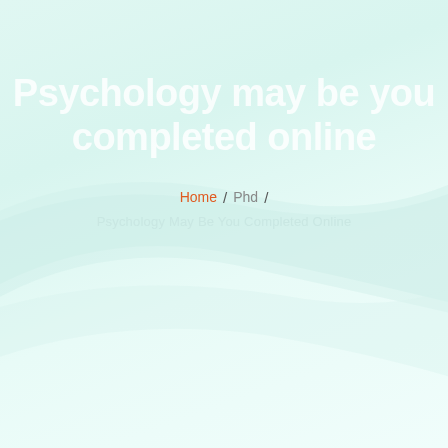Psychology may be you completed online
Home / Phd / Psychology May Be You Completed Online